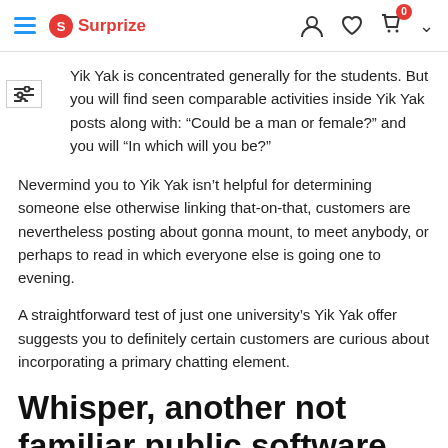Surprize
Yik Yak is concentrated generally for the students. But you will find seen comparable activities inside Yik Yak posts along with: “Could be a man or female?” and you will “In which will you be?”
Nevermind you to Yik Yak isn’t helpful for determining someone else otherwise linking that-on-that, customers are nevertheless posting about gonna mount, to meet anybody, or perhaps to read in which everyone else is going one to evening.
A straightforward test of just one university’s Yik Yak offer suggests you to definitely certain customers are curious about incorporating a primary chatting element.
Whisper, another not familiar public software, is more effortless. On the